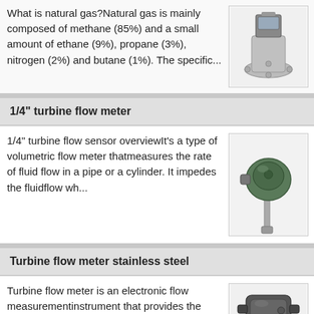What is natural gas?Natural gas is mainly composed of methane (85%) and a small amount of ethane (9%), propane (3%), nitrogen (2%) and butane (1%). The specific...
[Figure (photo): Industrial flow meter device, metallic with display unit, mounted with flanges]
1/4" turbine flow meter
1/4" turbine flow sensor overviewIt's a type of volumetric flow meter thatmeasures the rate of fluid flow in a pipe or a cylinder. It impedes the fluidflow wh...
[Figure (photo): Green turbine flow meter sensor with insertion probe, industrial equipment]
Turbine flow meter stainless steel
Turbine flow meter is an electronic flow measurementinstrument that provides the
[Figure (photo): Black/grey turbine flow meter device with connector housing]